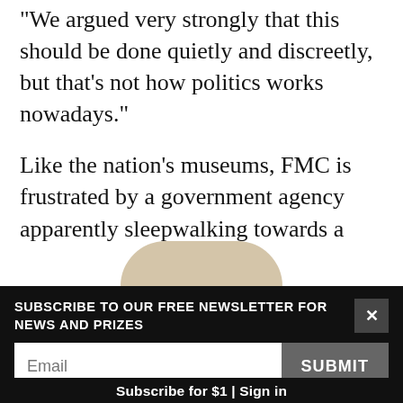“We argued very strongly that this should be done quietly and discreetly, but that’s not how politics works nowadays.”
Like the nation’s museums, FMC is frustrated by a government agency apparently sleepwalking towards a “tragic loss”, says Jan Finlayson.
[Figure (photo): Partial view of a rounded beige/tan object (possibly a sculpture or artifact), visible at the bottom of the content area before the banner overlay.]
SUBSCRIBE TO OUR FREE NEWSLETTER FOR NEWS AND PRIZES
Email
SUBMIT
3  FREE ARTICLES LEFT
Subscribe for $1 | Sign in